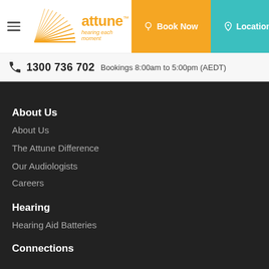attune™ hearing each moment | Book Now | Locations
☎ 1300 736 702  Bookings 8:00am to 5:00pm (AEDT)
About Us
About Us
The Attune Difference
Our Audiologists
Careers
Hearing
Hearing Aid Batteries
Connections (partial, cut off)